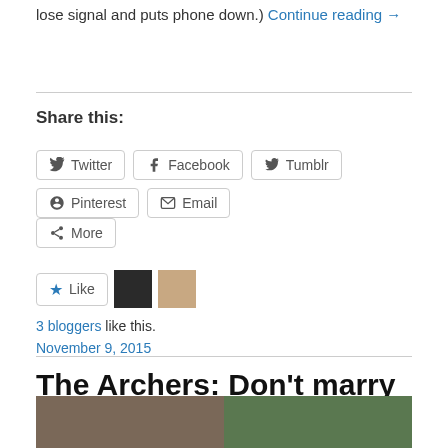lose signal and puts phone down.) Continue reading →
Share this:
Twitter | Facebook | Tumblr | Pinterest | Email
More
Like | [avatar 1] [avatar 2]
3 bloggers like this.
November 9, 2015
The Archers: Don't marry her, have me
[Figure (photo): Bottom image strip showing two photos side by side]